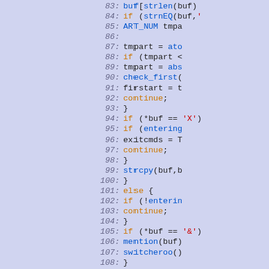[Figure (screenshot): Source code listing showing lines 83-112 of a C program with syntax highlighting. Line numbers in italic gray on the left, code on the right with keywords in orange, function names in blue, string literals in red, and regular identifiers in dark/black. Background is light lavender/periwinkle blue.]